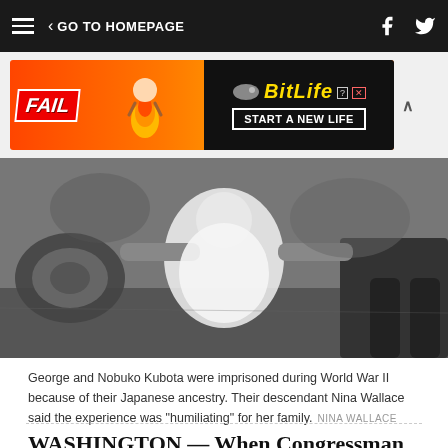≡  < GO TO HOMEPAGE  [facebook] [twitter]
[Figure (photo): Advertisement banner for BitLife mobile game showing 'FAIL' text and 'START A NEW LIFE' slogan with cartoon imagery and orange/fire background]
[Figure (photo): Black and white historical photograph of a baby or young child held by adults, likely from World War II era Japanese American internment context]
George and Nobuko Kubota were imprisoned during World War II because of their Japanese ancestry. Their descendant Nina Wallace said the experience was "humiliating" for her family. NINA WALLACE
WASHINGTON — When Congressman Mark Takano (D-Calif.) was a child, his grandfather took